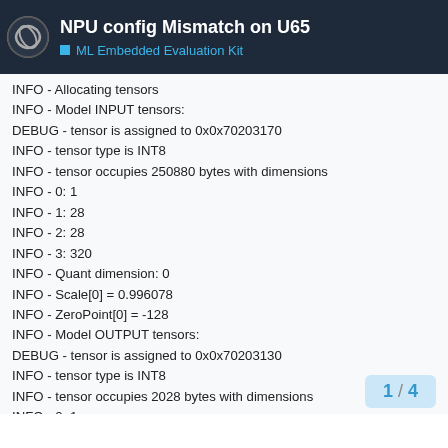NPU config Mismatch on U65
ML Embedded Evaluation Kit
INFO - Allocating tensors
INFO - Model INPUT tensors:
DEBUG - tensor is assigned to 0x0x70203170
INFO - tensor type is INT8
INFO - tensor occupies 250880 bytes with dimensions
INFO - 0: 1
INFO - 1: 28
INFO - 2: 28
INFO - 3: 320
INFO - Quant dimension: 0
INFO - Scale[0] = 0.996078
INFO - ZeroPoint[0] = -128
INFO - Model OUTPUT tensors:
DEBUG - tensor is assigned to 0x0x70203130
INFO - tensor type is INT8
INFO - tensor occupies 2028 bytes with dimensions
INFO - 0: 1
INFO - 1: 26
INFO - 2: 26